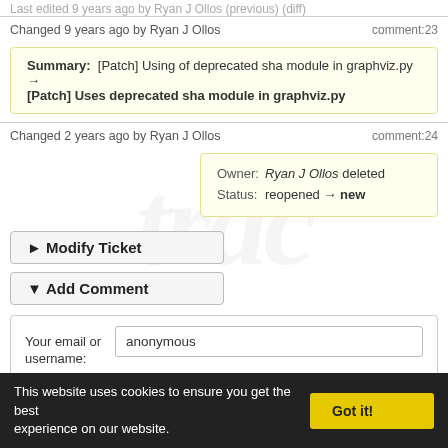Last edited 9 years ago by Ryan J Ollos (previous) (diff)
Changed 9 years ago by Ryan J Ollos comment:23
Summary: [Patch] Using of deprecated sha module in graphviz.py → [Patch] Uses deprecated sha module in graphviz.py
Changed 2 years ago by Ryan J Ollos comment:24
Owner: Ryan J Ollos deleted
Status: reopened → new
► Modify Ticket
▼ Add Comment
Your email or username: anonymous
E-mail address and name can be saved in the Preferences.
This website uses cookies to ensure you get the best experience on our website.